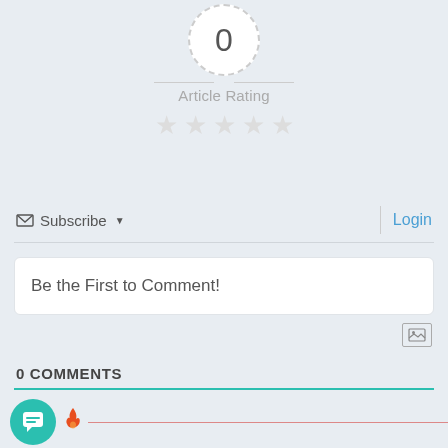[Figure (other): Article rating widget: dashed circle with '0', dashes on either side, 'Article Rating' label, and 5 empty star icons]
Subscribe ▾
Login
Be the First to Comment!
[Figure (other): Image upload icon button]
0 COMMENTS
[Figure (other): Teal chat bubble circle icon and flame icon with divider line at bottom]